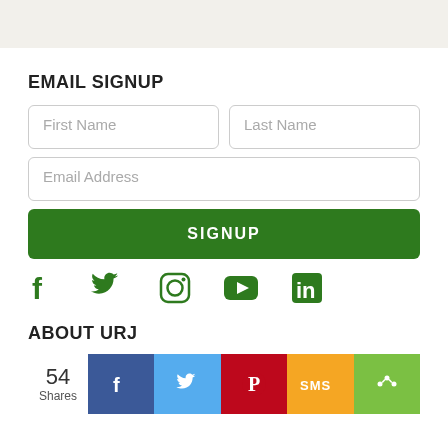EMAIL SIGNUP
[Figure (screenshot): Email signup form with First Name, Last Name, Email Address fields and a green SIGNUP button]
[Figure (infographic): Social media icons: Facebook, Twitter, Instagram, YouTube, LinkedIn in green]
ABOUT URJ
[Figure (infographic): Share bar showing 54 Shares with Facebook, Twitter, Pinterest, SMS, and share buttons]